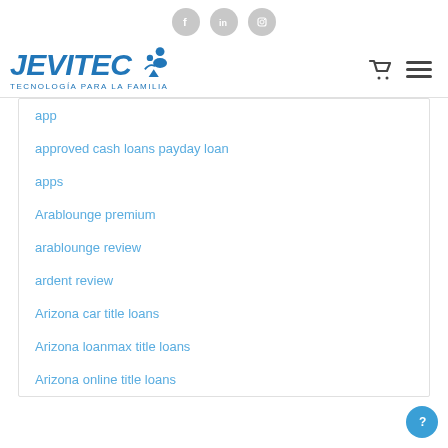JEVITEC - TECNOLOGÍA PARA LA FAMILIA
app
approved cash loans payday loan
apps
Arablounge premium
arablounge review
ardent review
Arizona car title loans
Arizona loanmax title loans
Arizona online title loans